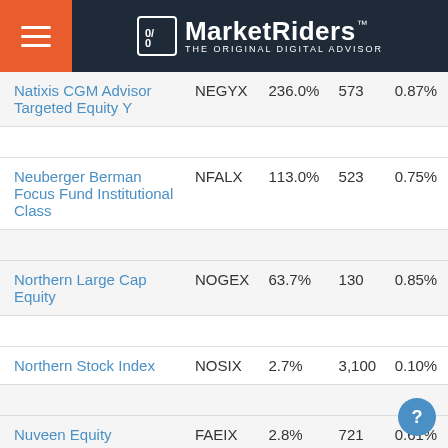MarketRiders — THE ORIGINAL DIGITAL ADVISOR
| Fund Name | Ticker | Return | Holdings | Expense |
| --- | --- | --- | --- | --- |
| Natixis CGM Advisor Targeted Equity Y | NEGYX | 236.0% | 573 | 0.87% |
| Neuberger Berman Focus Fund Institutional Class | NFALX | 113.0% | 523 | 0.75% |
| Northern Large Cap Equity | NOGEX | 63.7% | 130 | 0.85% |
| Northern Stock Index | NOSIX | 2.7% | 3,100 | 0.10% |
| Nuveen Equity | FAEIX | 2.8% | 721 | 0.61% |